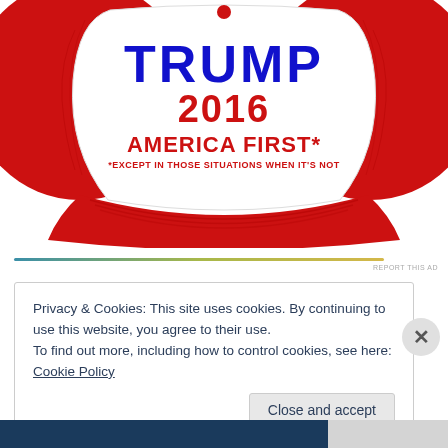[Figure (photo): A red and white trucker-style cap with text: TRUMP in large blue bold letters, 2016 in red bold letters, AMERICA FIRST* in red bold letters, *EXCEPT IN THOSE SITUATIONS WHEN IT'S NOT in smaller red letters.]
REPORT THIS AD
Privacy & Cookies: This site uses cookies. By continuing to use this website, you agree to their use.
To find out more, including how to control cookies, see here: Cookie Policy
Close and accept